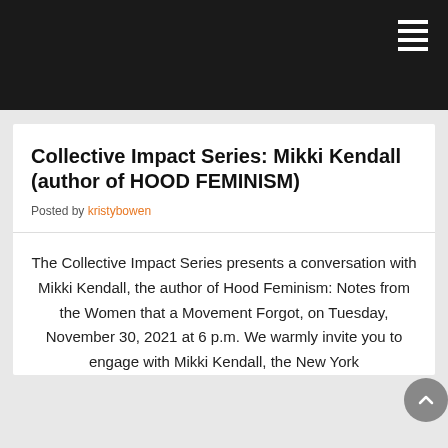[Figure (other): Black navigation header bar with hamburger menu icon (three horizontal white lines) in the top right corner]
Collective Impact Series: Mikki Kendall (author of HOOD FEMINISM)
Posted by kristybowen
The Collective Impact Series presents a conversation with Mikki Kendall, the author of Hood Feminism: Notes from the Women that a Movement Forgot, on Tuesday, November 30, 2021 at 6 p.m. We warmly invite you to engage with Mikki Kendall, the New York